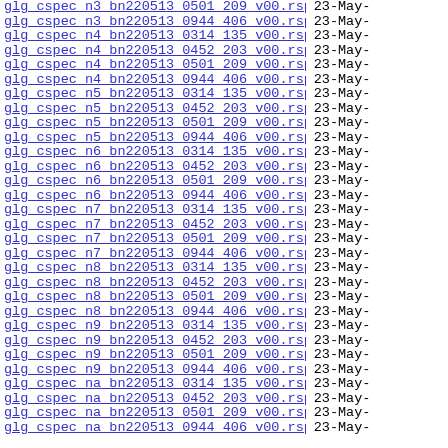glg_cspec_n3_bn220513_0501_209_v00.rsp2   23-May-
glg_cspec_n3_bn220513_0944_406_v00.rsp2   23-May-
glg_cspec_n4_bn220513_0314_135_v00.rsp2   23-May-
glg_cspec_n4_bn220513_0452_203_v00.rsp2   23-May-
glg_cspec_n4_bn220513_0501_209_v00.rsp2   23-May-
glg_cspec_n4_bn220513_0944_406_v00.rsp2   23-May-
glg_cspec_n5_bn220513_0314_135_v00.rsp2   23-May-
glg_cspec_n5_bn220513_0452_203_v00.rsp2   23-May-
glg_cspec_n5_bn220513_0501_209_v00.rsp2   23-May-
glg_cspec_n5_bn220513_0944_406_v00.rsp2   23-May-
glg_cspec_n6_bn220513_0314_135_v00.rsp2   23-May-
glg_cspec_n6_bn220513_0452_203_v00.rsp2   23-May-
glg_cspec_n6_bn220513_0501_209_v00.rsp2   23-May-
glg_cspec_n6_bn220513_0944_406_v00.rsp2   23-May-
glg_cspec_n7_bn220513_0314_135_v00.rsp2   23-May-
glg_cspec_n7_bn220513_0452_203_v00.rsp2   23-May-
glg_cspec_n7_bn220513_0501_209_v00.rsp2   23-May-
glg_cspec_n7_bn220513_0944_406_v00.rsp2   23-May-
glg_cspec_n8_bn220513_0314_135_v00.rsp2   23-May-
glg_cspec_n8_bn220513_0452_203_v00.rsp2   23-May-
glg_cspec_n8_bn220513_0501_209_v00.rsp2   23-May-
glg_cspec_n8_bn220513_0944_406_v00.rsp2   23-May-
glg_cspec_n9_bn220513_0314_135_v00.rsp2   23-May-
glg_cspec_n9_bn220513_0452_203_v00.rsp2   23-May-
glg_cspec_n9_bn220513_0501_209_v00.rsp2   23-May-
glg_cspec_n9_bn220513_0944_406_v00.rsp2   23-May-
glg_cspec_na_bn220513_0314_135_v00.rsp2   23-May-
glg_cspec_na_bn220513_0452_203_v00.rsp2   23-May-
glg_cspec_na_bn220513_0501_209_v00.rsp2   23-May-
glg_cspec_na_bn220513_0944_406_v00.rsp2   23-May-